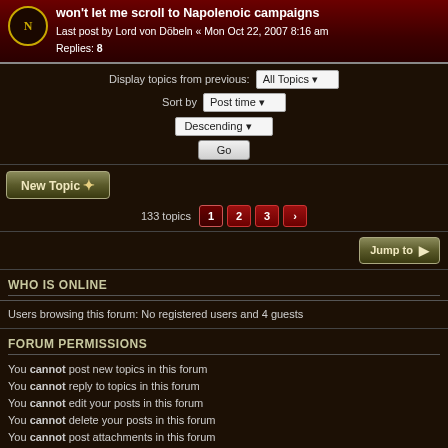won't let me scroll to Napolenoic campaigns
Last post by Lord von Döbeln « Mon Oct 22, 2007 8:16 am
Replies: 8
Display topics from previous: All Topics
Sort by Post time
Descending
Go
New Topic
133 topics  1  2  3  ›
Jump to
WHO IS ONLINE
Users browsing this forum: No registered users and 4 guests
FORUM PERMISSIONS
You cannot post new topics in this forum
You cannot reply to topics in this forum
You cannot edit your posts in this forum
You cannot delete your posts in this forum
You cannot post attachments in this forum
Home · Portal · Forum     The team  ≡
Powered by phpBB® Forum Software © phpBB Limited